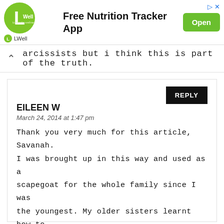[Figure (screenshot): LWell longevity wellness app advertisement banner with green logo circle, 'Free Nutrition Tracker App' text, and green 'Open' button]
arcissists but i think this is part of the truth.
REPLY
EILEEN W
March 24, 2014 at 1:47 pm
Thank you very much for this article, Savanah. I was brought up in this way and used as a scapegoat for the whole family since I was the youngest. My older sisters learnt how to bully me with the same severe criticism and lies that my mother used. It led to being a